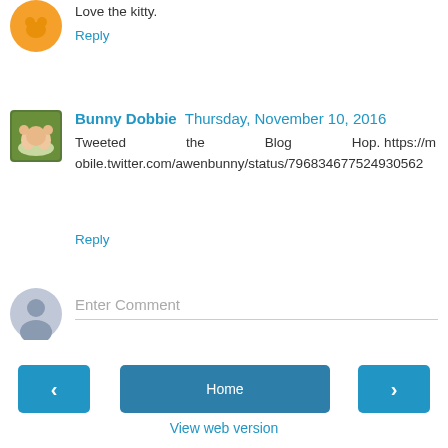Love the kitty.
Reply
Bunny Dobbie  Thursday, November 10, 2016
Tweeted the Blog Hop. https://mobile.twitter.com/awenbunny/status/796834677524930562
Reply
Enter Comment
‹
Home
›
View web version
Powered by Blogger.